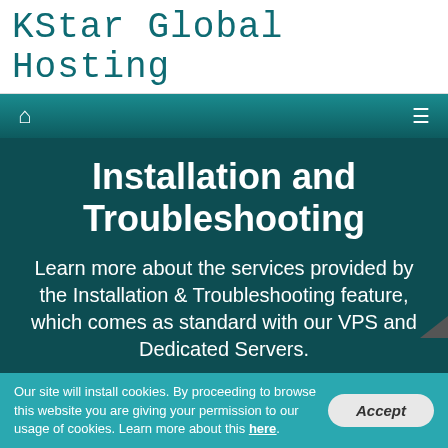KStar Global Hosting
[Figure (screenshot): Navigation bar with home icon and hamburger menu icon on dark teal gradient background]
Installation and Troubleshooting
Learn more about the services provided by the Installation & Troubleshooting feature, which comes as standard with our VPS and Dedicated Servers.
Our site will install cookies. By proceeding to browse this website you are giving your permission to our usage of cookies. Learn more about this here.